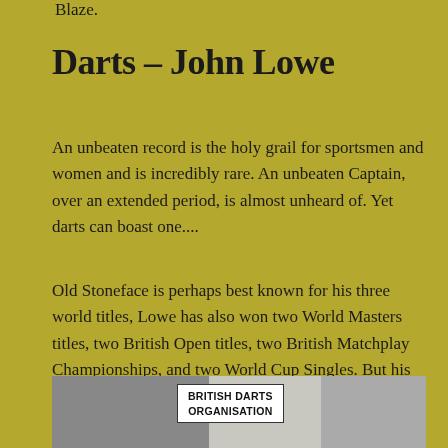Blaze.
Darts – John Lowe
An unbeaten record is the holy grail for sportsmen and women and is incredibly rare. An unbeaten Captain, over an extended period, is almost unheard of. Yet darts can boast one....
Old Stoneface is perhaps best known for his three world titles, Lowe has also won two World Masters titles, two British Open titles, two British Matchplay Championships, and two World Cup Singles. But his record as an international player and England captain is equally outstanding.
[Figure (photo): Black and white photograph showing a person at a British Darts Organisation event, with a sign reading 'BRITISH DARTS ORGANISATION' visible.]